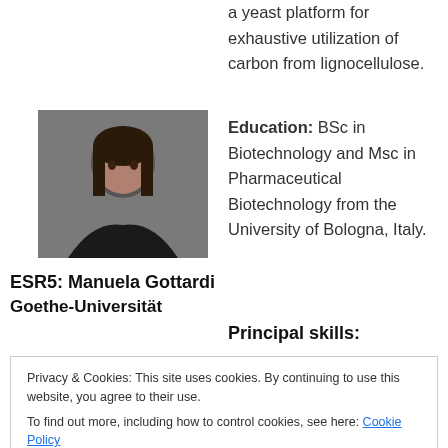a yeast platform for exhaustive utilization of carbon from lignocellulose.
[Figure (photo): Headshot photo of Manuela Gottardi, a young woman with dark hair]
ESR5: Manuela Gottardi
Goethe-Universität
Education: BSc in Biotechnology and Msc in Pharmaceutical Biotechnology from the University of Bologna, Italy.
Principal skills:
Privacy & Cookies: This site uses cookies. By continuing to use this website, you agree to their use.
To find out more, including how to control cookies, see here: Cookie Policy
western blot analysis